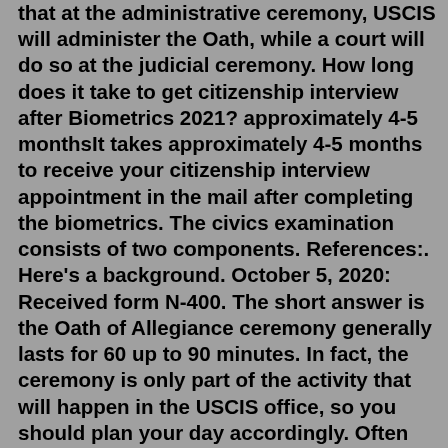that at the administrative ceremony, USCIS will administer the Oath, while a court will do so at the judicial ceremony. How long does it take to get citizenship interview after Biometrics 2021? approximately 4-5 monthsIt takes approximately 4-5 months to receive your citizenship interview appointment in the mail after completing the biometrics. The civics examination consists of two components. References:. Here's a background. October 5, 2020: Received form N-400. The short answer is the Oath of Allegiance ceremony generally lasts for 60 up to 90 minutes. In fact, the ceremony is only part of the activity that will happen in the USCIS office, so you should plan your day accordingly. Often immediately after you pass the naturalization test, the USCIS officer will hand you a sheet with information when the ... Generally speaking, you should receive your notice by mail within 3 – 6 weeks of your citizenship interview. After that, the oath ceremony should be scheduled within the next few weeks. After